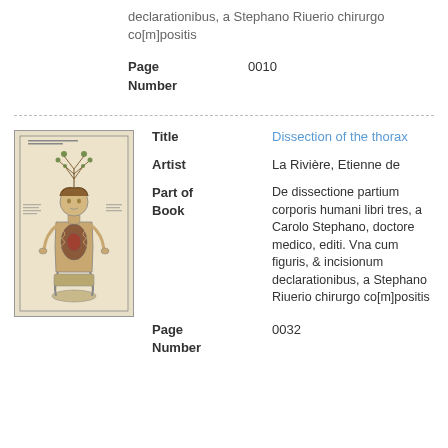Page Number
0010
[Figure (illustration): Woodcut illustration of a dissection of the thorax, showing a human figure seated with chest opened, from an early anatomical text.]
Title
Dissection of the thorax
Artist
La Rivière, Etienne de
Part of Book
De dissectione partium corporis humani libri tres, a Carolo Stephano, doctore medico, editi. Vna cum figuris, & incisionum declarationibus, a Stephano Riuerio chirurgo co[m]positis
Page Number
0032